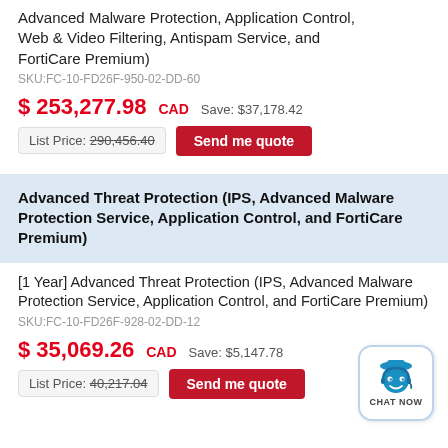Advanced Malware Protection, Application Control, Web & Video Filtering, Antispam Service, and FortiCare Premium)
SKU:FC-10-FD26F-950-02-DD-60
$ 253,277.98 CAD   Save: $37,178.42
List Price: 290,456.40   Send me quote
Advanced Threat Protection (IPS, Advanced Malware Protection Service, Application Control, and FortiCare Premium)
[1 Year] Advanced Threat Protection (IPS, Advanced Malware Protection Service, Application Control, and FortiCare Premium)
SKU:FC-10-FD26F-928-02-DD-12
$ 35,069.26 CAD   Save: $5,147.78
List Price: 40,217.04   Send me quote